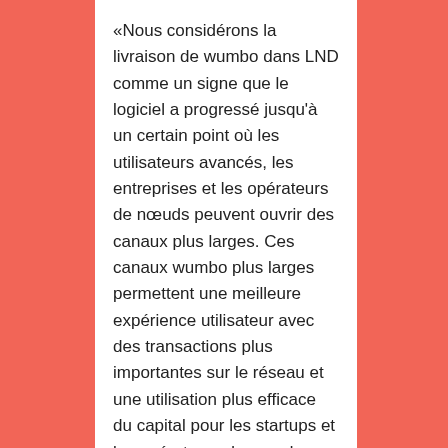«Nous considérons la livraison de wumbo dans LND comme un signe que le logiciel a progressé jusqu'à un certain point où les utilisateurs avancés, les entreprises et les opérateurs de nœuds peuvent ouvrir des canaux plus larges. Ces canaux wumbo plus larges permettent une meilleure expérience utilisateur avec des transactions plus importantes sur le réseau et une utilisation plus efficace du capital pour les startups et les opérateurs de nœuds », a déclaré Elizabeth Stark, PDG de Lightning Labs, à CoinDesk.